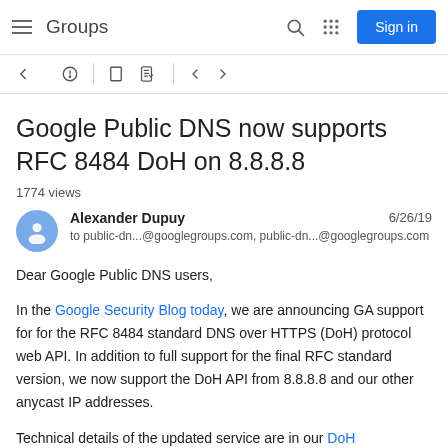Groups | Sign in
Google Public DNS now supports RFC 8484 DoH on 8.8.8.8
1774 views
Alexander Dupuy  6/26/19
to public-dn...@googlegroups.com, public-dn...@googlegroups.com
Dear Google Public DNS users,
In the Google Security Blog today, we are announcing GA support for for the RFC 8484 standard DNS over HTTPS (DoH) protocol web API. In addition to full support for the final RFC standard version, we now support the DoH API from 8.8.8.8 and our other anycast IP addresses.
Technical details of the updated service are in our DoH documentation, and DoH application developers and users of